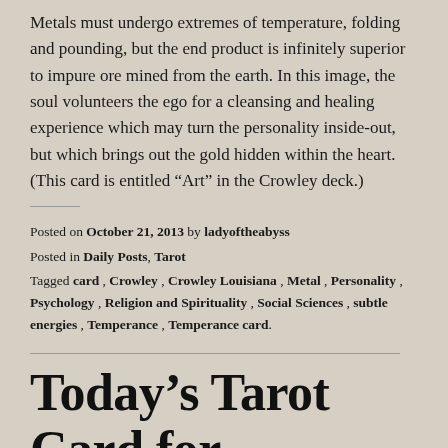Metals must undergo extremes of temperature, folding and pounding, but the end product is infinitely superior to impure ore mined from the earth. In this image, the soul volunteers the ego for a cleansing and healing experience which may turn the personality inside-out, but which brings out the gold hidden within the heart. (This card is entitled “Art” in the Crowley deck.)
Posted on October 21, 2013 by ladyoftheabyss
Posted in Daily Posts, Tarot
Tagged card, Crowley, Crowley Louisiana, Metal, Personality, Psychology, Religion and Spirituality, Social Sciences, subtle energies, Temperance, Temperance card.
Today’s Tarot Card for